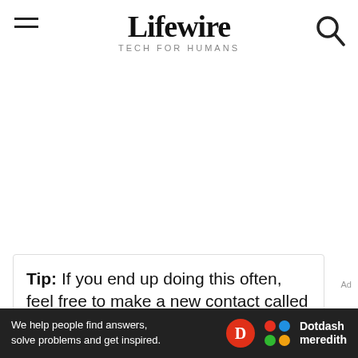Lifewire TECH FOR HUMANS
Tip: If you end up doing this often, feel free to make a new contact called
Ad
[Figure (logo): Dotdash Meredith advertisement banner at the bottom: 'We help people find answers, solve problems and get inspired.' with Dotdash Meredith branding logos.]